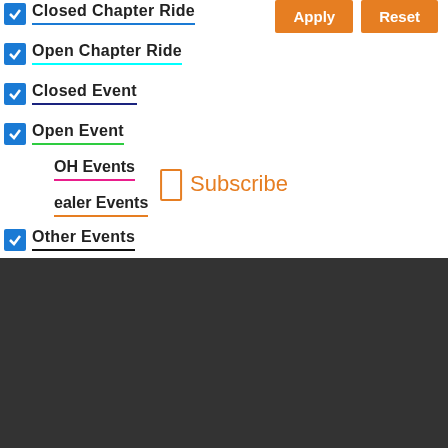Closed Chapter Ride
Open Chapter Ride
Closed Event
Open Event
OH Events
ealer Events
Other Events
Subscribe
REGULAR RIDES
Please check the calendar for updates and changes.
Download on the App Store